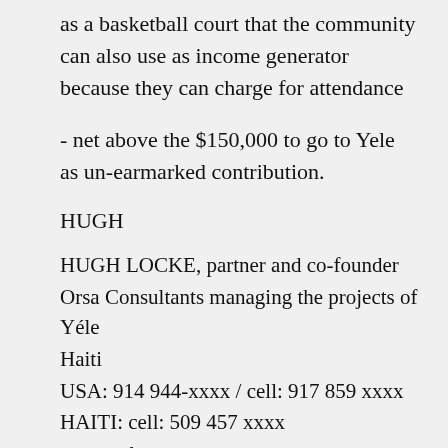as a basketball court that the community can also use as income generator because they can charge for attendance
- net above the $150,000 to go to Yele as un-earmarked contribution.
HUGH
HUGH LOCKE, partner and co-founder Orsa Consultants managing the projects of Yéle Haiti
USA: 914 944-xxxx / cell: 917 859 xxxx
HAITI: cell: 509 457 xxxx
www.yele.org
www.orsaconsultants.com